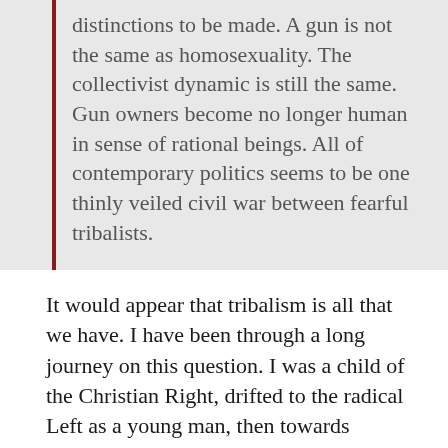there are contextual inductive distinctions to be made. A gun is not the same as homosexuality. The collectivist dynamic is still the same. Gun owners become no longer human in sense of rational beings. All of contemporary politics seems to be one thinly veiled civil war between fearful tribalists.
It would appear that tribalism is all that we have. I have been through a long journey on this question. I was a child of the Christian Right, drifted to the radical Left as a young man, then towards mainstream libertarianism, then the militia movement and the populist right, along the way developing the view that the only workable kind of libertarianism would be some kind of pluralistic but anti-